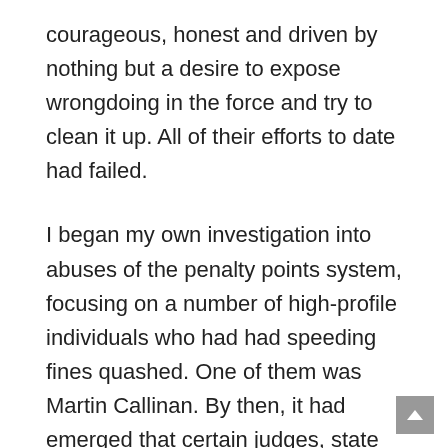courageous, honest and driven by nothing but a desire to expose wrongdoing in the force and try to clean it up. All of their efforts to date had failed.
I began my own investigation into abuses of the penalty points system, focusing on a number of high-profile individuals who had had speeding fines quashed. One of them was Martin Callinan. By then, it had emerged that certain judges, state solicitors and crime reporters had had penalty points cleared. But now there was proof that the person with overall responsibility for implementing our road safety laws had also evaded them for his own personal gain.
At the time, Independent News and Media (INM) was